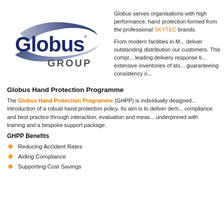[Figure (logo): Globus Group logo with stylized swoosh and dark blue text]
Globus serves organisations with high performance, hand protection formed from the professional SKYTEC brands.
From modern facilities in M... deliver outstanding distribution our customers. This compr... leading delivery response ti... extensive inventories of sto... guaranteeing consistency o...
Globus Hand Protection Programme
The Globus Hand Protection Programme (GHPP) is individually designed... introduction of a robust hand protection policy. Its aim is to deliver dem... compliance and best practice through interaction, evaluation and meas... underpinned with training and a bespoke support package.
GHPP Benefits
Reducing Accident Rates
Aiding Compliance
Supporting Cost Savings